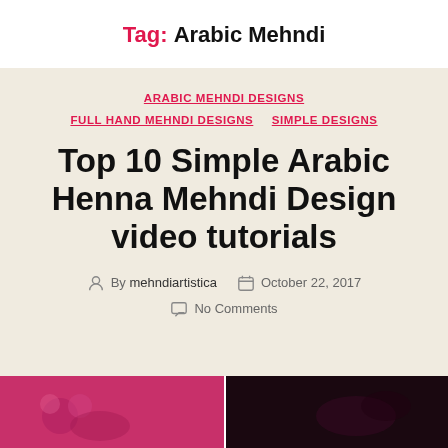Tag: Arabic Mehndi
ARABIC MEHNDI DESIGNS   FULL HAND MEHNDI DESIGNS   SIMPLE DESIGNS
Top 10 Simple Arabic Henna Mehndi Design video tutorials
By mehndiartistica   October 22, 2017   No Comments
[Figure (photo): Two photos of henna mehndi designs on hands with pink background]